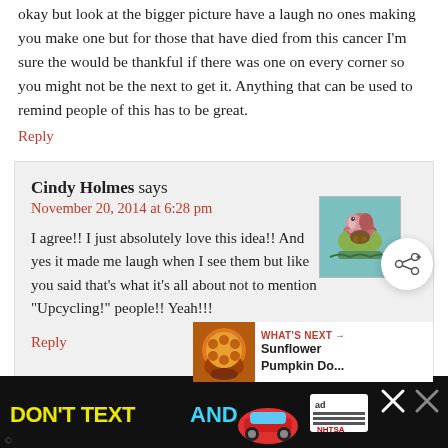okay but look at the bigger picture have a laugh no ones making you make one but for those that have died from this cancer I'm sure the would be thankful if there was one on every corner so you might not be the next to get it. Anything that can be used to remind people of this has to be great.
Reply
Cindy Holmes says
November 20, 2014 at 6:28 pm
[Figure (illustration): Small avatar illustration of a bird with a nest, colorful nature scene]
I agree!! I just absolutely love this idea!! And yes it made me laugh when I see them but like you said that's what it's all about not to mention "Upcycling!" people!! Yeah!!!
Reply
[Figure (infographic): DON'T TEXT AND [car emoji] advertisement banner at the bottom with NHTSA logo and ad badge]